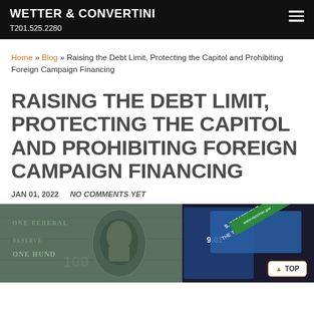WETTER & CONVERTINI
T201.525.2280
Home » Blog » Raising the Debt Limit, Protecting the Capitol and Prohibiting Foreign Campaign Financing
RAISING THE DEBT LIMIT, PROTECTING THE CAPITOL AND PROHIBITING FOREIGN CAMPAIGN FINANCING
JAN 01, 2022   NO COMMENTS YET
[Figure (photo): Photo showing US currency (hundred dollar bills) alongside a US Treasury department card/document, with a phone showing 9:01 time, and a green banner with vaccination-related URL text]